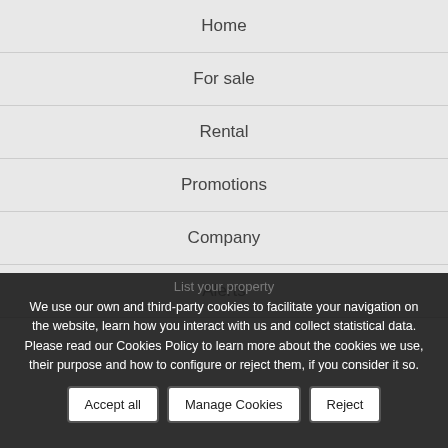Home
For sale
Rental
Promotions
Company
Alerts
List your property
We use our own and third-party cookies to facilitate your navigation on the website, learn how you interact with us and collect statistical data. Please read our Cookies Policy to learn more about the cookies we use, their purpose and how to configure or reject them, if you consider it so.
Accept all | Manage Cookies | Reject